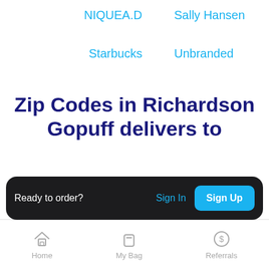NIQUEA.D
Sally Hansen
Starbucks
Unbranded
Zip Codes in Richardson Gopuff delivers to
Expand the list of zip codes
Ready to order?
Sign In
Sign Up
Home  My Bag  Referrals